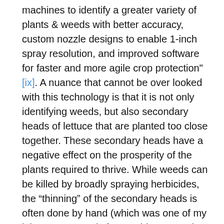machines to identify a greater variety of plants & weeds with better accuracy, custom nozzle designs to enable 1-inch spray resolution, and improved software for faster and more agile crop protection"[ix]. A nuance that cannot be over looked with this technology is that it is not only identifying weeds, but also secondary heads of lettuce that are planted too close together. These secondary heads have a negative effect on the prosperity of the plants required to thrive. While weeds can be killed by broadly spraying herbicides, the “thinning” of the secondary heads is often done by hand (which was one of my jobs as an organic farmer this summer), allowing the LettuceBot to not only “boost the yield of farms by 10%” but also cut down significantly on labor[x] .
Blue River is already looking at new ways to increase its machine learning capabilities with the